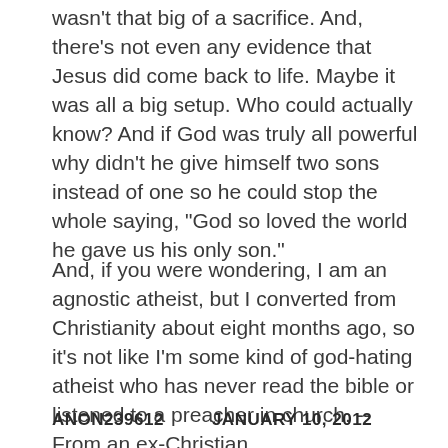wasn't that big of a sacrifice. And, there's not even any evidence that Jesus did come back to life. Maybe it was all a big setup. Who could actually know? And if God was truly all powerful why didn't he give himself two sons instead of one so he could stop the whole saying, "God so loved the world he gave us his only son."
And, if you were wondering, I am an agnostic atheist, but I converted from Christianity about eight months ago, so it's not like I'm some kind of god-hating atheist who has never read the bible or listened to a preacher in church. --From an ex-Christian
ANON239612    JANUARY 10, 2012